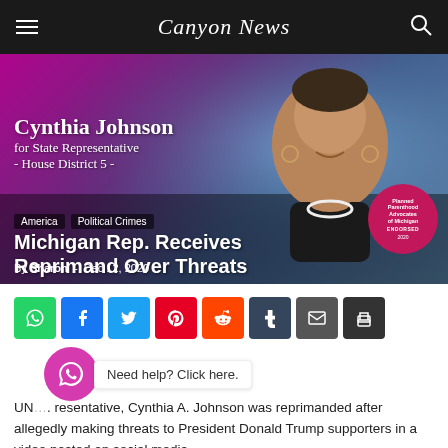Canyon News
[Figure (photo): Hero image of Cynthia Johnson, Michigan State Representative, campaign photo with pink/purple gradient background. Text overlaid: 'Cynthia Johnson for State Representative - House District 5 -'. Tags: America, Political Crimes. Article title: Michigan Rep. Receives Reprimand Over Threats. Byline: By Sharon - Dec 12, 2020. Planned Parenthood Advocates of Michigan ENDORSED 2020 badge visible.]
Michigan Rep. Receives Reprimand Over Threats
By Sharon - Dec 12, 2020
UN... representative, Cynthia A. Johnson was reprimanded after allegedly making threats to President Donald Trump supporters in a video posted on social media.